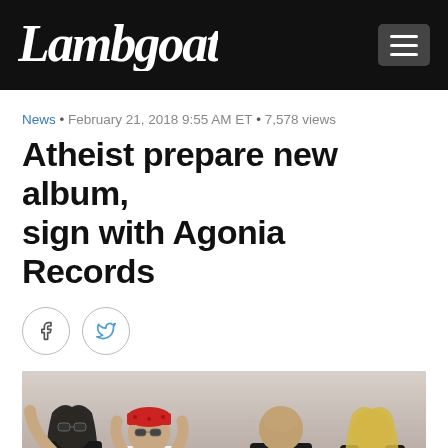Lambgoat
News • February 21, 2018 9:55 AM ET • 7,578 views
Atheist prepare new album, sign with Agonia Records
[Figure (photo): Band photo of four members of Atheist standing against a concrete wall. From left: long-haired member in black t-shirt and sunglasses, member wearing red bandana hat and white t-shirt, bald member in black t-shirt, and member with long blond hair in black t-shirt.]